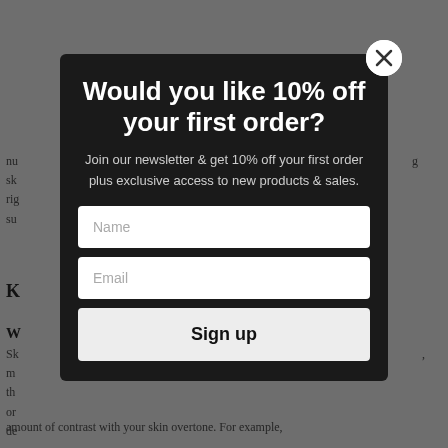[Figure (screenshot): Background webpage content showing article text about skin tones, partially visible, grayed out behind modal overlay]
Would you like 10% off your first order?
Join our newsletter & get 10% off your first order plus exclusive access to new products & sales.
Name
Email
Sign up